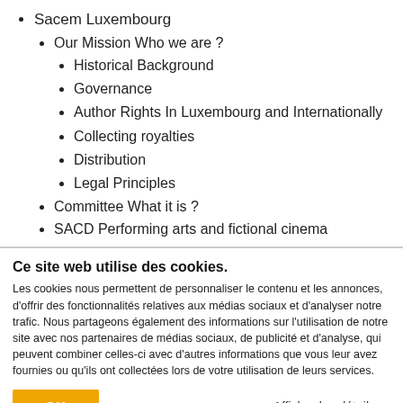Sacem Luxembourg
Our Mission Who we are ?
Historical Background
Governance
Author Rights In Luxembourg and Internationally
Collecting royalties
Distribution
Legal Principles
Committee What it is ?
SACD Performing arts and fictional cinema
Ce site web utilise des cookies.
Les cookies nous permettent de personnaliser le contenu et les annonces, d'offrir des fonctionnalités relatives aux médias sociaux et d'analyser notre trafic. Nous partageons également des informations sur l'utilisation de notre site avec nos partenaires de médias sociaux, de publicité et d'analyse, qui peuvent combiner celles-ci avec d'autres informations que vous leur avez fournies ou qu'ils ont collectées lors de votre utilisation de leurs services.
OK
Afficher les détails ˅